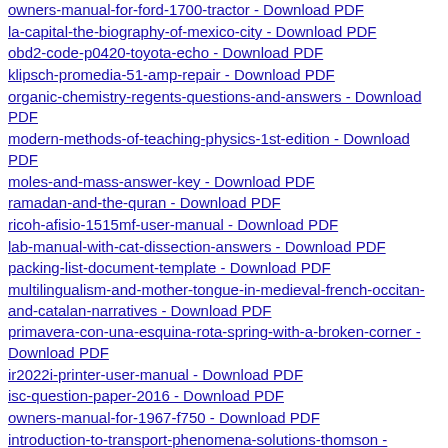owners-manual-for-ford-1700-tractor - Download PDF
la-capital-the-biography-of-mexico-city - Download PDF
obd2-code-p0420-toyota-echo - Download PDF
klipsch-promedia-51-amp-repair - Download PDF
organic-chemistry-regents-questions-and-answers - Download PDF
modern-methods-of-teaching-physics-1st-edition - Download PDF
moles-and-mass-answer-key - Download PDF
ramadan-and-the-quran - Download PDF
ricoh-afisio-1515mf-user-manual - Download PDF
lab-manual-with-cat-dissection-answers - Download PDF
packing-list-document-template - Download PDF
multilingualism-and-mother-tongue-in-medieval-french-occitan-and-catalan-narratives - Download PDF
primavera-con-una-esquina-rota-spring-with-a-broken-corner - Download PDF
ir2022i-printer-user-manual - Download PDF
isc-question-paper-2016 - Download PDF
owners-manual-for-1967-f750 - Download PDF
introduction-to-transport-phenomena-solutions-thomson - Download PDF
initiation-a-la-langue-et-a-la-culture-latines-5eme - Download PDF
introduction-to-graph-theory-solutions-manual-wilson - Download PDF
samsung-smart-viewer-30-manual - Download PDF